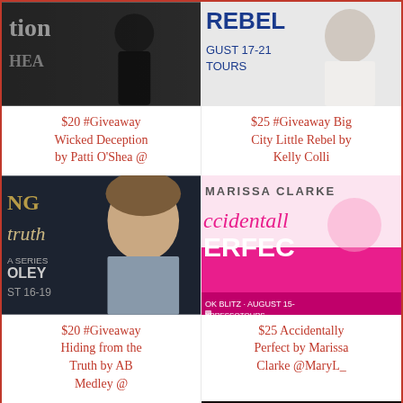[Figure (illustration): Book cover partial: 'Wicked Deception by Patti O'Shea' - silhouette figure, dark tones, text 'tion', 'HEA']
[Figure (illustration): Book cover partial: 'Big City Little Rebel by Kelly Colli' - man in white shirt, blue text 'REBEL', 'AUGUST 17-21', 'TOURS']
$20 #Giveaway Wicked Deception by Patti O'Shea @
$25 #Giveaway Big City Little Rebel by Kelly Colli
[Figure (illustration): Book cover: 'Hiding from the Truth by AB Medley' - man with wavy hair, partial text 'NG truth OLEY ST 16-19']
[Figure (illustration): Book cover: 'Accidentally Perfect by Marissa Clarke' - pink and white, text 'MARISSA CLARKE accidentally PERFEC', 'OK BLITZ · AUGUST 15-', 'XPRESSOTOURS']
$20 #Giveaway Hiding from the Truth by AB Medley @
$25 Accidentally Perfect by Marissa Clarke @MaryL_
[Figure (illustration): Partial book cover bottom strip: dark image with text 'CLAY']